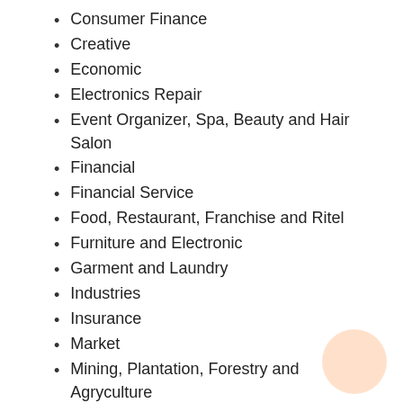Consumer Finance
Creative
Economic
Electronics Repair
Event Organizer, Spa, Beauty and Hair Salon
Financial
Financial Service
Food, Restaurant, Franchise and Ritel
Furniture and Electronic
Garment and Laundry
Industries
Insurance
Market
Mining, Plantation, Forestry and Agryculture
News
Online Transportation
Pharmaceuticals